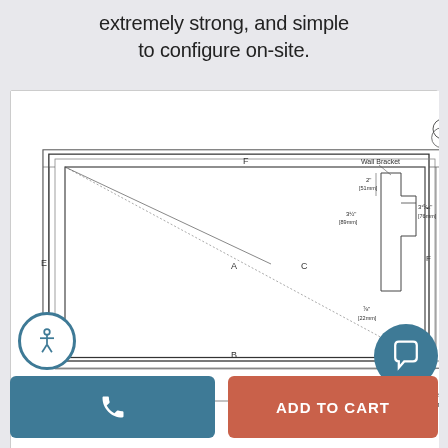extremely strong, and simple to configure on-site.
[Figure (engineering-diagram): Technical schematic drawing showing front elevation and side cross-section of a wall-mounted frame/bracket system. Front view shows a rectangular frame with diagonal construction lines labeled A, B, C, E, F and dimensions. Side view shows a wall bracket profile with labeled dimensions: 2" [51mm] width, 3 1/2" [89mm] height, 3 15/16" [76mm], 7/8" [22mm]. Bottom shows dimension D with 3 1/2" [89mm] notation.]
[Figure (other): Accessibility icon button (circle with person figure)]
[Figure (other): Chat icon button (dark blue circle with speech bubble)]
[Figure (other): Call button (teal/blue rectangle with phone icon)]
[Figure (other): Add to Cart button (orange-red rectangle with ADD TO CART text)]